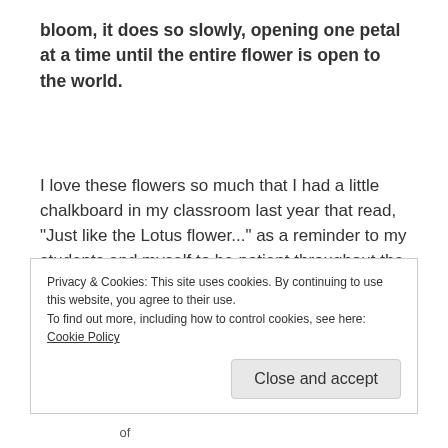bloom, it does so slowly, opening one petal at a time until the entire flower is open to the world.
I love these flowers so much that I had a little chalkboard in my classroom last year that read, “Just like the Lotus flower...” as a reminder to my students and myself to be patient throughout the process of growth and the opening of themselves that would happen within my classroom walls.
Privacy & Cookies: This site uses cookies. By continuing to use this website, you agree to their use.
To find out more, including how to control cookies, see here: Cookie Policy
Close and accept